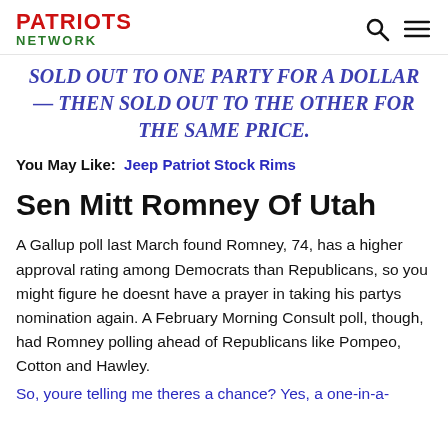PATRIOTS NETWORK
SOLD OUT TO ONE PARTY FOR A DOLLAR — THEN SOLD OUT TO THE OTHER FOR THE SAME PRICE.
You May Like:  Jeep Patriot Stock Rims
Sen Mitt Romney Of Utah
A Gallup poll last March found Romney, 74, has a higher approval rating among Democrats than Republicans, so you might figure he doesnt have a prayer in taking his partys nomination again. A February Morning Consult poll, though, had Romney polling ahead of Republicans like Pompeo, Cotton and Hawley.
So, youre telling me theres a chance? Yes, a one-in-a-